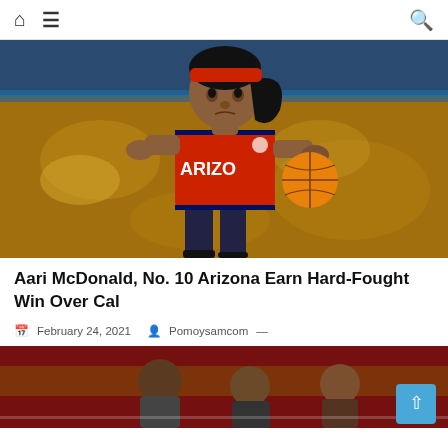Home Menu Search
[Figure (photo): Arizona women's basketball player Aari McDonald in red Arizona uniform dribbling a basketball on an indoor court]
Aari McDonald, No. 10 Arizona Earn Hard-Fought Win Over Cal
February 24, 2021  Pomoysamcom —
[Figure (photo): Basketball game action photo with players on a court with a maroon and gold background]